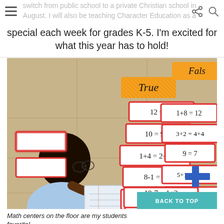switch from public school to a private Christian school in August. I will also be teaching Character Education as a special each week for grades K-5. I'm excited for what this year has to hold!
[Figure (photo): A student sitting on a floor writing in a notebook, surrounded by math equation cards sorted into True and False categories. Cards visible include: 12=12, 10=9+1, 1+4=2+3, 8-1=9-2, 10-2=12-4, 7+2=3+6, 10-7=1+2 (True pile), and 1+8=12, 3+2=4+4, 9=7, 5+1=6+7, 2+4= (False pile).]
Math centers on the floor are my students favorite!